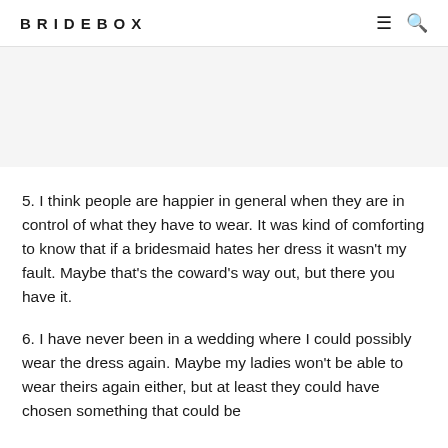BRIDEBOX
[Figure (other): Advertisement or image placeholder area]
5. I think people are happier in general when they are in control of what they have to wear. It was kind of comforting to know that if a bridesmaid hates her dress it wasn't my fault. Maybe that's the coward's way out, but there you have it.
6. I have never been in a wedding where I could possibly wear the dress again. Maybe my ladies won't be able to wear theirs again either, but at least they could have chosen something that could be